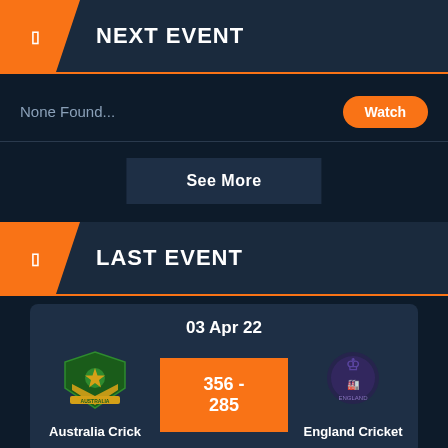NEXT EVENT
None Found...
Watch
See More
LAST EVENT
03 Apr 22
[Figure (logo): Australia Cricket team logo - green shield with gold kangaroo]
356 - 285
[Figure (logo): England Cricket team logo - blue and purple]
Australia Crick
England Cricket